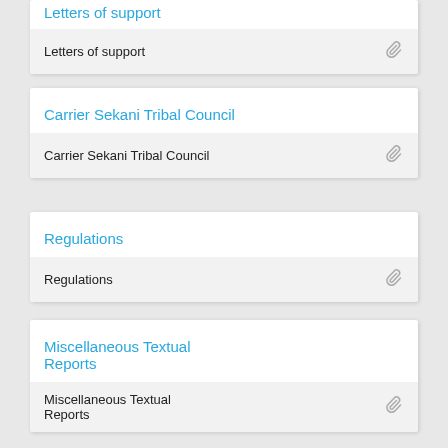Letters of support
Letters of support
Carrier Sekani Tribal Council
Carrier Sekani Tribal Council
Regulations
Regulations
Miscellaneous Textual Reports
Miscellaneous Textual Reports